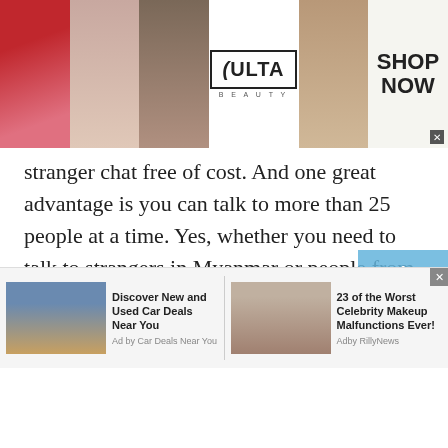[Figure (photo): Banner advertisement for Ulta Beauty showing cosmetic photos (lips, brush, eye) with Ulta logo and SHOP NOW call to action]
stranger chat free of cost. And one great advantage is you can talk to more than 25 people at a time. Yes, whether you need to talk to strangers in Myanmar or people from different countries, you can add multiple people in a group.
So, if you are a student, employee or businessman, why not avail the perks of this free conference calling app? Isn't it great to have a group study, family group call, business meeting call while sitting at home? Of course, it is. Businesses can use
[Figure (screenshot): Bottom advertisement bar with two ads: 'Discover New and Used Car Deals Near You' (Ad by Car Deals Near You) and '23 of the Worst Celebrity Makeup Malfunctions Ever!' (Adby RillyNews)]